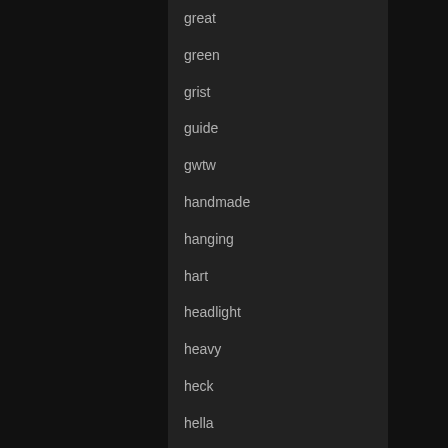great
green
grist
guide
gwtw
handmade
hanging
hart
headlight
heavy
heck
hella
herbert
history
hollywood